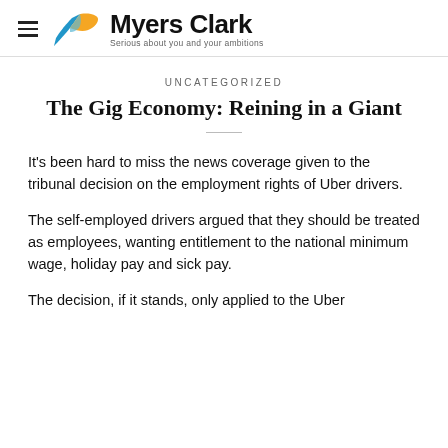Myers Clark — Serious about you and your ambitions
UNCATEGORIZED
The Gig Economy: Reining in a Giant
It’s been hard to miss the news coverage given to the tribunal decision on the employment rights of Uber drivers.
The self-employed drivers argued that they should be treated as employees, wanting entitlement to the national minimum wage, holiday pay and sick pay.
The decision, if it stands, only applied to the Uber